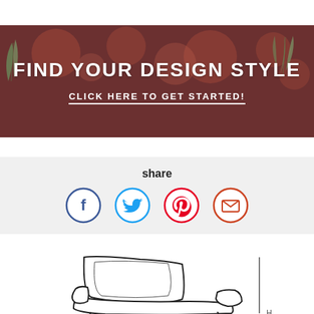[Figure (infographic): Banner with dark brownish-red blurred background and green leaf decorations. Large white uppercase text: FIND YOUR DESIGN STYLE. Below it white bold uppercase underlined text: CLICK HERE TO GET STARTED!]
[Figure (infographic): Share section on light grey background. Text 'share' in bold, followed by four circular social media icons: Facebook (dark blue circle with f), Twitter (light blue circle with bird), Pinterest (red circle with P), Email (red-orange circle with envelope).]
[Figure (illustration): Line drawing / schematic illustration of an upholstered armchair/recliner viewed from the side-front angle, with a vertical dimension line marked H on the right side.]